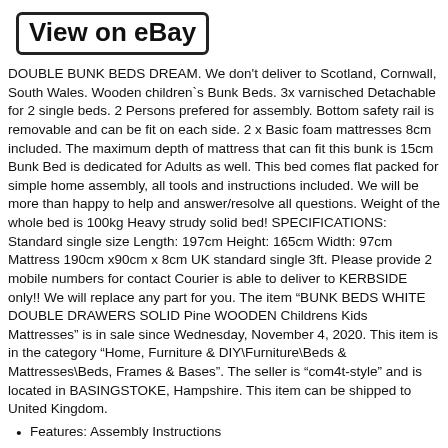[Figure (screenshot): Button labeled 'View on eBay' with bold text inside a rounded rectangle border]
DOUBLE BUNK BEDS DREAM. We don't deliver to Scotland, Cornwall, South Wales. Wooden children`s Bunk Beds. 3x varnisched Detachable for 2 single beds. 2 Persons prefered for assembly. Bottom safety rail is removable and can be fit on each side. 2 x Basic foam mattresses 8cm included. The maximum depth of mattress that can fit this bunk is 15cm Bunk Bed is dedicated for Adults as well. This bed comes flat packed for simple home assembly, all tools and instructions included. We will be more than happy to help and answer/resolve all questions. Weight of the whole bed is 100kg Heavy strudy solid bed! SPECIFICATIONS: Standard single size Length: 197cm Height: 165cm Width: 97cm Mattress 190cm x90cm x 8cm UK standard single 3ft. Please provide 2 mobile numbers for contact Courier is able to deliver to KERBSIDE only!! We will replace any part for you. The item “BUNK BEDS WHITE DOUBLE DRAWERS SOLID Pine WOODEN Childrens Kids Mattresses” is in sale since Wednesday, November 4, 2020. This item is in the category “Home, Furniture & DIY\Furniture\Beds & Mattresses\Beds, Frames & Bases”. The seller is “com4t-style” and is located in BASINGSTOKE, Hampshire. This item can be shipped to United Kingdom.
Features: Assembly Instructions
Manufacturer Warranty: 12 MONTHS
MPN: DREAMWHITE3FT